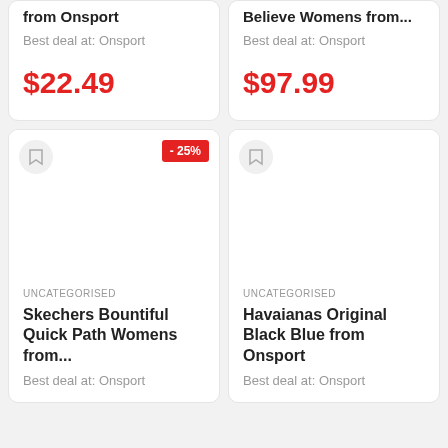from Onsport
Best deal at: Onsport
$22.49
Believe Womens from...
Best deal at: Onsport
$97.99
UNCATEGORISED
Skechers Bountiful Quick Path Womens from...
Best deal at: Onsport
- 25%
UNCATEGORISED
Havaianas Original Black Blue from Onsport
Best deal at: Onsport